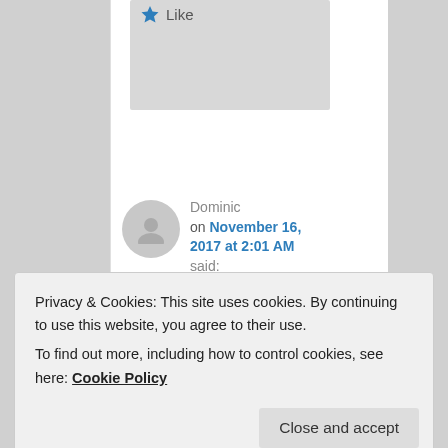Like
Dominic on November 16, 2017 at 2:01 AM said:
Hello Ricky,
I hope you still get these messages here. I have
Privacy & Cookies: This site uses cookies. By continuing to use this website, you agree to their use.
To find out more, including how to control cookies, see here: Cookie Policy
Close and accept
s not the main cause that